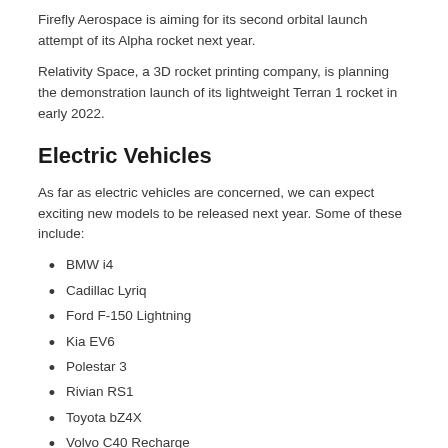Firefly Aerospace is aiming for its second orbital launch attempt of its Alpha rocket next year.
Relativity Space, a 3D rocket printing company, is planning the demonstration launch of its lightweight Terran 1 rocket in early 2022.
Electric Vehicles
As far as electric vehicles are concerned, we can expect exciting new models to be released next year. Some of these include:
BMW i4
Cadillac Lyriq
Ford F-150 Lightning
Kia EV6
Polestar 3
Rivian RS1
Toyota bZ4X
Volvo C40 Recharge